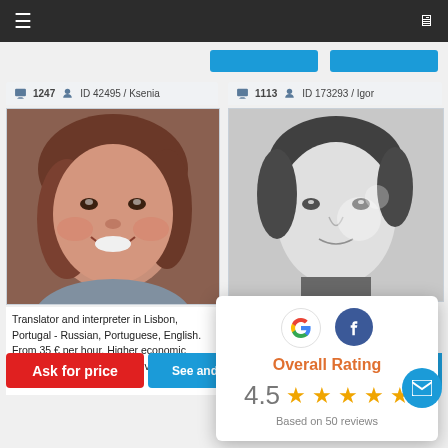Navigation bar with menu and monitor icons
1247  ID 42495 / Ksenia
[Figure (photo): Profile photo of Ksenia - smiling young woman with brown hair]
Translator and interpreter in Lisbon, Portugal - Russian, Portuguese, English. From 35 € per hour. Higher economic education of the Russian university. Fluent English and Portuguese...
Ask for price
See and order
1113  ID 173293 / Igor
[Figure (photo): Profile photo of Igor - black and white photo of a man]
Overall Rating
4.5
Based on 50 reviews